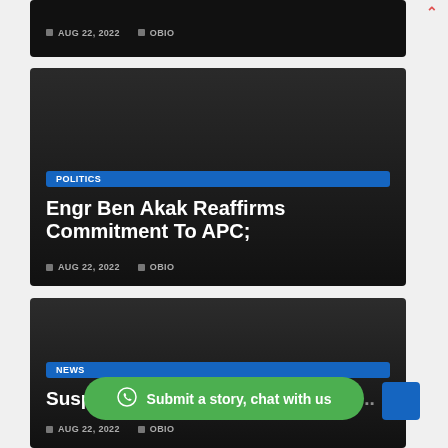[Figure (screenshot): Dark news card showing date AUG 22, 2022 and category OBIO at top]
[Figure (screenshot): Dark news card with POLITICS tag, headline: Engr Ben Akak Reaffirms Commitment To APC;, date AUG 22, 2022, category OBIO]
[Figure (screenshot): Dark news card with NEWS tag, headline: Suspect Gives Reason Why He Wa..., date AUG 22, 2022, category OBIO]
Submit a story, chat with us